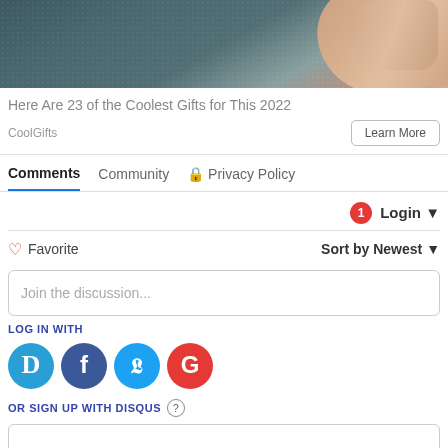[Figure (photo): Partial photo showing a finger and dark textured surface, cropped at top]
Here Are 23 of the Coolest Gifts for This 2022
CoolGifts
Learn More
Comments   Community   Privacy Policy
Login
Favorite   Sort by Newest
Join the discussion...
LOG IN WITH
OR SIGN UP WITH DISQUS ?